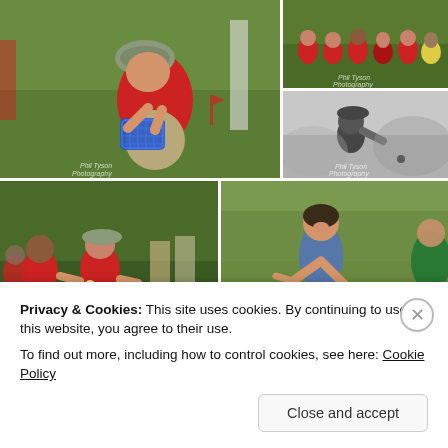[Figure (photo): Collage of five outdoor children's sports day photos: top-left large photo of a boy in red shirt and camouflage hat picking up a blue basket on grass; top-right upper photo of children in red shirts crouching on grass; top-right lower black-and-white photo of a boy throwing something; bottom-left photo of children in red shirts passing something; bottom-right photo of a smiling woman running holding hands with others]
Privacy & Cookies: This site uses cookies. By continuing to use this website, you agree to their use.
To find out more, including how to control cookies, see here: Cookie Policy